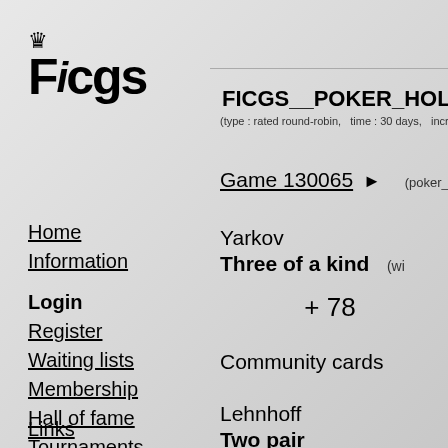[Figure (logo): FICGS logo with crown icon and bold text]
Home
Information
Login
Register
Waiting lists
Membership
Hall of fame
Tournaments
Best game
Wikichess
Rating list
Problems
Forum
Links
FICGS__POKER_HOLDEM__TO
(type : rated round-robin,   time : 30 days,   incremen
Game 130065 ▶   (poker_holdem)
Yarkov
Three of a kind   (wi
+ 78
Community cards
Lehnhoff
Two pair